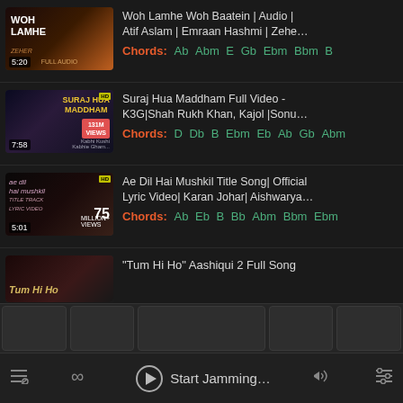[Figure (screenshot): Music app screenshot showing a list of Bollywood songs with thumbnails, titles, and chord suggestions. Bottom navigation bar with tabs and playback controls.]